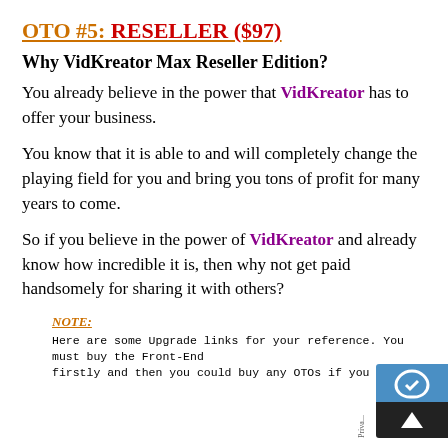OTO #5: RESELLER ($97)
Why VidKreator Max Reseller Edition?
You already believe in the power that VidKreator has to offer your business.
You know that it is able to and will completely change the playing field for you and bring you tons of profit for many years to come.
So if you believe in the power of VidKreator and already know how incredible it is, then why not get paid handsomely for sharing it with others?
NOTE:
Here are some Upgrade links for your reference. You must buy the Front-End firstly and then you could buy any OTOs if you love.